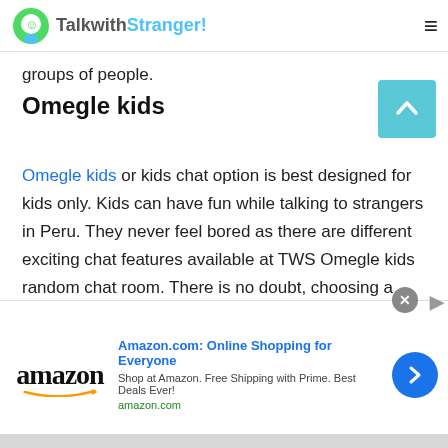TalkwithStranger!
groups of people.
Omegle kids
Omegle kids or kids chat option is best designed for kids only. Kids can have fun while talking to strangers in Peru. They never feel bored as there are different exciting chat features available at TWS Omegle kids random chat room. There is no doubt, choosing a kids chat option can be worthwhile when it comes to building self-confidence, high self-
[Figure (other): Amazon advertisement banner: Amazon.com: Online Shopping for Everyone. Shop at Amazon. Free Shipping with Prime. Best Deals Ever! amazon.com]